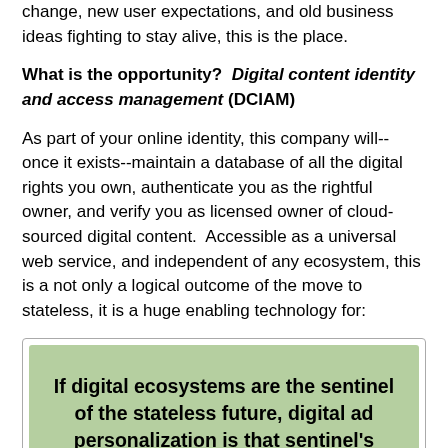change, new user expectations, and old business ideas fighting to stay alive, this is the place.
What is the opportunity?  Digital content identity and access management (DCIAM)
As part of your online identity, this company will--once it exists--maintain a database of all the digital rights you own, authenticate you as the rightful owner, and verify you as licensed owner of cloud-sourced digital content.  Accessible as a universal web service, and independent of any ecosystem, this is a not only a logical outcome of the move to stateless, it is a huge enabling technology for:
[Figure (infographic): Green highlighted callout box with bold text: If digital ecosystems are the sentinel of the stateless future, digital ad personalization is that sentinel's entrepreneurial cousin.]
For the distinct predilections of traditional media...